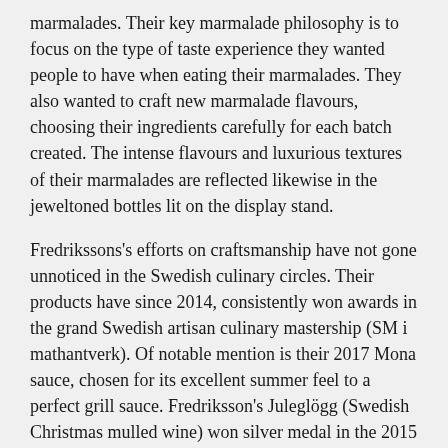marmalades. Their key marmalade philosophy is to focus on the type of taste experience they wanted people to have when eating their marmalades. They also wanted to craft new marmalade flavours, choosing their ingredients carefully for each batch created. The intense flavours and luxurious textures of their marmalades are reflected likewise in the jeweltoned bottles lit on the display stand.
Fredrikssons's efforts on craftsmanship have not gone unnoticed in the Swedish culinary circles. Their products have since 2014, consistently won awards in the grand Swedish artisan culinary mastership (SM i mathantverk). Of notable mention is their 2017 Mona sauce, chosen for its excellent summer feel to a perfect grill sauce. Fredriksson's Juleglögg (Swedish Christmas mulled wine) won silver medal in the 2015 SM i mathantverk and they took home both gold and silver medals in SM i mathantverk 2014 for their Hot Apple and Apricot Chutney, and Honeypear and Ginger Marmelade.